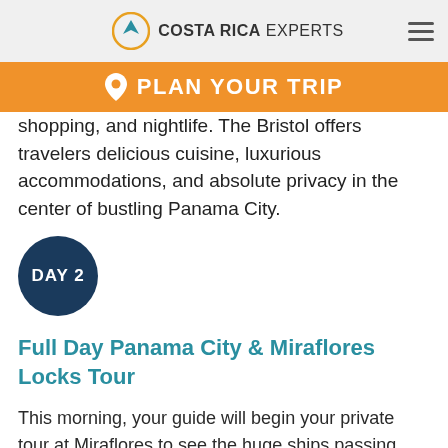COSTA RICA EXPERTS
PLAN YOUR TRIP
shopping, and nightlife. The Bristol offers travelers delicious cuisine, luxurious accommodations, and absolute privacy in the center of bustling Panama City.
DAY 2
Full Day Panama City & Miraflores Locks Tour
This morning, your guide will begin your private tour at Miraflores to see the huge ships passing through the Panama Canal.